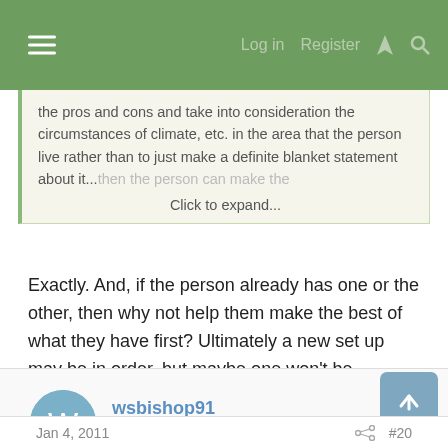≡  Log in  Register  ⚡  🔍
the pros and cons and take into consideration the circumstances of climate, etc. in the area that the person live rather than to just make a definite blanket statement about it...then the person can make the Click to expand...
Exactly. And, if the person already has one or the other, then why not help them make the best of what they have first? Ultimately a new set up may be in order, but maybe one won't be needed.
wsbishop91
New Member
Jan 4, 2011  #20